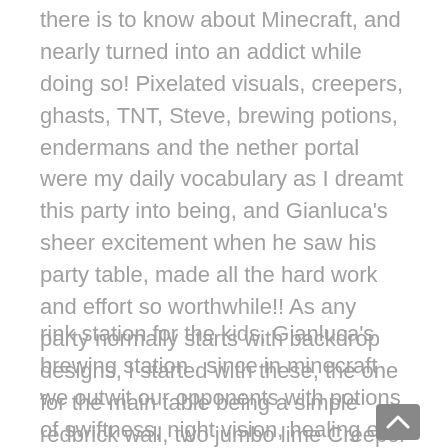there is to know about Minecraft, and nearly turned into an addict while doing so! Pixelated visuals, creepers, ghasts, TNT, Steve, brewing potions, endermans and the nether portal were my daily vocabulary as I dreamt this party into being, and Gianluca's sheer excitement when he saw his party table, made all the hard work and effort so worthwhile!! As any party normally starts with backdrop designs, I started with these, the one for the main table being a simple redbrick wall, two jumbo lime Creeper balloons either side, a balloon arch of ghast faces, and two massive red TNT drums. Next I created a d
rink station for the kids, Gianluca's brewing station , since in minecraft we outwit our opponents with potions of swiftness, night vision, healing etc. The party favor table was my personal favourite , with large 3D dirt, bricks and cement boxes forming the backdrop, a stunning felt Steve